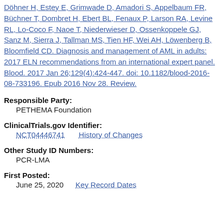Döhner H, Estey E, Grimwade D, Amadori S, Appelbaum FR, Büchner T, Dombret H, Ebert BL, Fenaux P, Larson RA, Levine RL, Lo-Coco F, Naoe T, Niederwieser D, Ossenkoppele GJ, Sanz M, Sierra J, Tallman MS, Tien HF, Wei AH, Löwenberg B, Bloomfield CD. Diagnosis and management of AML in adults: 2017 ELN recommendations from an international expert panel. Blood. 2017 Jan 26;129(4):424-447. doi: 10.1182/blood-2016-08-733196. Epub 2016 Nov 28. Review.
Responsible Party:
PETHEMA Foundation
ClinicalTrials.gov Identifier:
NCT04446741    History of Changes
Other Study ID Numbers:
PCR-LMA
First Posted:
June 25, 2020    Key Record Dates